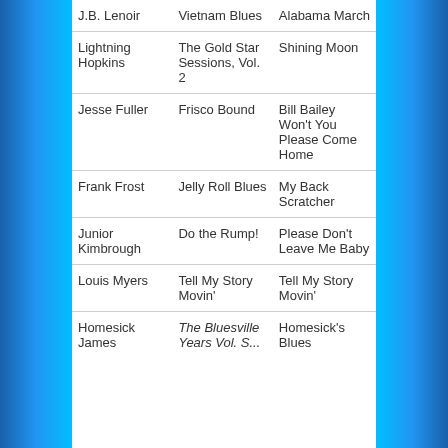| J.B. Lenoir | Vietnam Blues | Alabama March |
| Lightning Hopkins | The Gold Star Sessions, Vol. 2 | Shining Moon |
| Jesse Fuller | Frisco Bound | Bill Bailey Won't You Please Come Home |
| Frank Frost | Jelly Roll Blues | My Back Scratcher |
| Junior Kimbrough | Do the Rump! | Please Don't Leave Me Baby |
| Louis Myers | Tell My Story Movin' | Tell My Story Movin' |
| Homesick James | The Bluesville Years Vol. S... | Homesick's Blues |